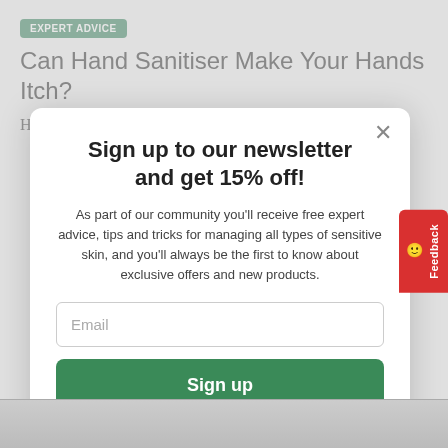EXPERT ADVICE
Can Hand Sanitiser Make Your Hands Itch?
Hand sanitiser has become one of life’s constants this
Sign up to our newsletter and get 15% off!
As part of our community you’ll receive free expert advice, tips and tricks for managing all types of sensitive skin, and you’ll always be the first to know about exclusive offers and new products.
Email
Sign up